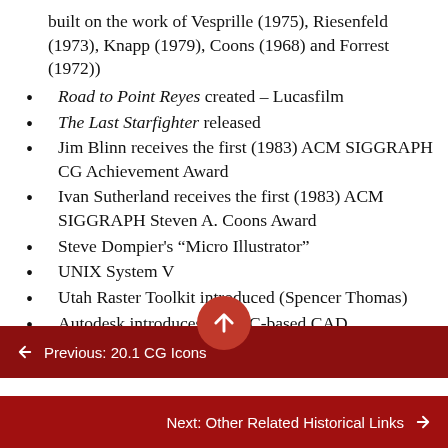built on the work of Vesprille (1975), Riesenfeld (1973), Knapp (1979), Coons (1968) and Forrest (1972))
Road to Point Reyes created – Lucasfilm
The Last Starfighter released
Jim Blinn receives the first (1983) ACM SIGGRAPH CG Achievement Award
Ivan Sutherland receives the first (1983) ACM SIGGRAPH Steven A. Coons Award
Steve Dompier's “Micro Illustrator”
UNIX System V
Utah Raster Toolkit introduced (Spencer Thomas)
Autodesk introduces first PC-based CAD
← Previous: 20.1 CG Icons
Next: Other Related Historical Links →